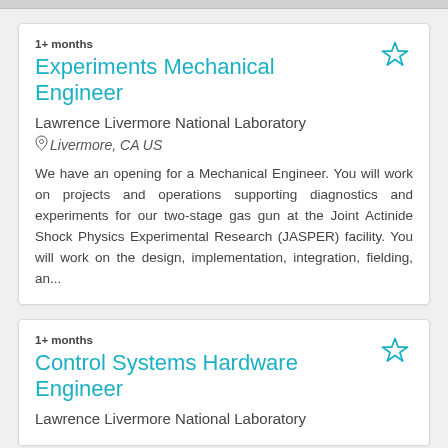1+ months
Experiments Mechanical Engineer
Lawrence Livermore National Laboratory
Livermore, CA US
We have an opening for a Mechanical Engineer.  You will work on projects and operations supporting diagnostics and experiments for our two-stage gas gun at the Joint Actinide Shock Physics Experimental Research (JASPER) facility. You will work on the design, implementation, integration, fielding, an...
1+ months
Control Systems Hardware Engineer
Lawrence Livermore National Laboratory